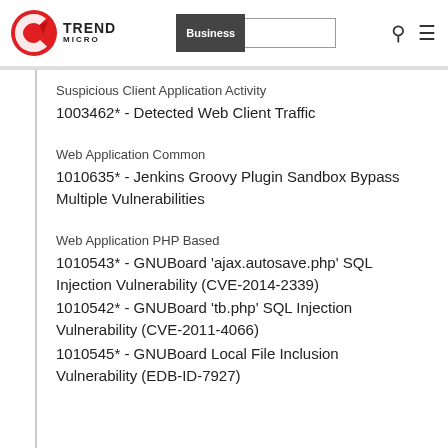Trend Micro | Business [navigation bar with search]
Suspicious Client Application Activity
1003462* - Detected Web Client Traffic
Web Application Common
1010635* - Jenkins Groovy Plugin Sandbox Bypass Multiple Vulnerabilities
Web Application PHP Based
1010543* - GNUBoard 'ajax.autosave.php' SQL Injection Vulnerability (CVE-2014-2339)
1010542* - GNUBoard 'tb.php' SQL Injection Vulnerability (CVE-2011-4066)
1010545* - GNUBoard Local File Inclusion Vulnerability (EDB-ID-7927)